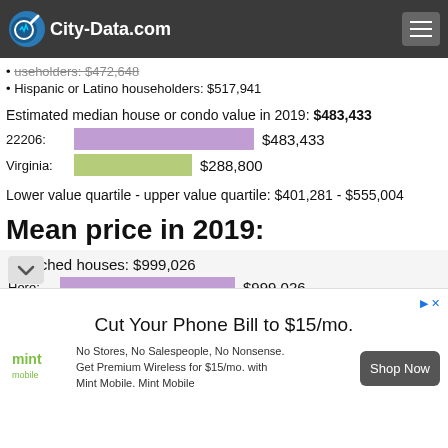City-Data.com
Some other race householders: $460,940
householders: $472,648
Hispanic or Latino householders: $517,941
Estimated median house or condo value in 2019: $483,433
22206: $483,433
Virginia: $288,800
Lower value quartile - upper value quartile: $401,281 - $555,004
Mean price in 2019:
Detached houses: $999,026
Here: $999,026
a: $377,025
Cut Your Phone Bill to $15/mo. No Stores, No Salespeople, No Nonsense. Get Premium Wireless for $15/mo. with Mint Mobile. Mint Mobile